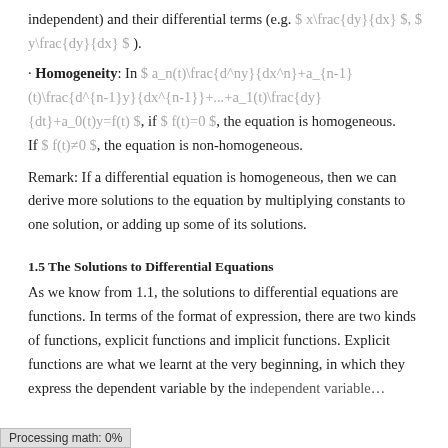independent) and their differential terms (e.g. $ x\frac{dy}{dx} $, $ y\frac{dy}{dx} $ ).
· Homogeneity: In $ a_n(t)\frac{d^ny}{dx^n}+a_{n-1}(t)\frac{d^{n-1}y}{dx^{n-1}}+...+a_1(t)\frac{dy}{dt}+a_0(t)y=f(t) $, if $ f(t)=0 $, the equation is homogeneous. If $ f(t)≠0 $, the equation is non-homogeneous.
Remark: If a differential equation is homogeneous, then we can derive more solutions to the equation by multiplying constants to one solution, or adding up some of its solutions.
1.5 The Solutions to Differential Equations
As we know from 1.1, the solutions to differential equations are functions. In terms of the format of expression, there are two kinds of functions, explicit functions and implicit functions. Explicit functions are what we learnt at the very beginning, in which they express the dependent variable by the independent variable, e.g. $ y=sin(t)+cos(t) $. On the contrary,